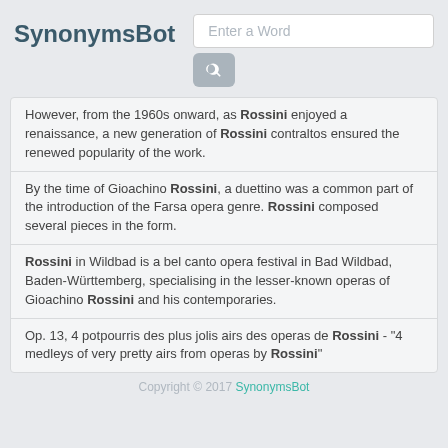SynonymsBot
However, from the 1960s onward, as Rossini enjoyed a renaissance, a new generation of Rossini contraltos ensured the renewed popularity of the work.
By the time of Gioachino Rossini, a duettino was a common part of the introduction of the Farsa opera genre. Rossini composed several pieces in the form.
Rossini in Wildbad is a bel canto opera festival in Bad Wildbad, Baden-Württemberg, specialising in the lesser-known operas of Gioachino Rossini and his contemporaries.
Op. 13, 4 potpourris des plus jolis airs des operas de Rossini - "4 medleys of very pretty airs from operas by Rossini"
Copyright © 2017 SynonymsBot